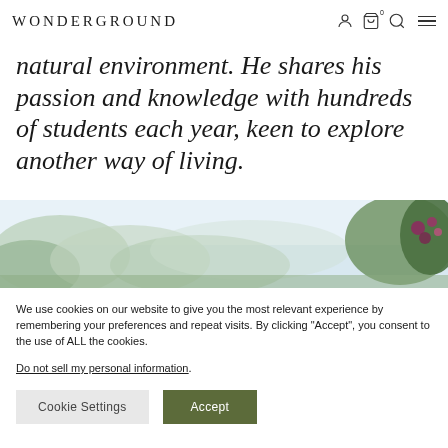WONDERGROUND
natural environment. He shares his passion and knowledge with hundreds of students each year, keen to explore another way of living.
[Figure (photo): Outdoor nature scene with blurred trees and foliage in the background, and flowers visible on the right side]
We use cookies on our website to give you the most relevant experience by remembering your preferences and repeat visits. By clicking “Accept”, you consent to the use of ALL the cookies.
Do not sell my personal information.